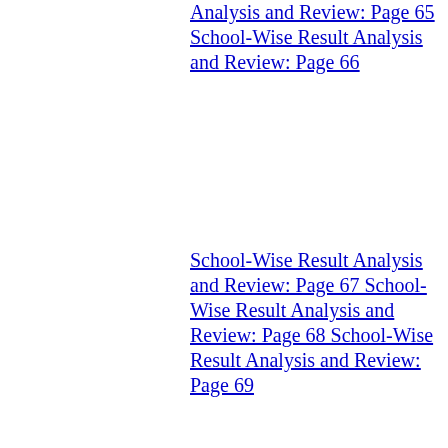Analysis and Review: Page 65 School-Wise Result Analysis and Review: Page 66
School-Wise Result Analysis and Review: Page 67 School-Wise Result Analysis and Review: Page 68 School-Wise Result Analysis and Review: Page 69
School-Wise Result Analysis and Review: Page 70 School-Wise Result Analysis and Review: Page